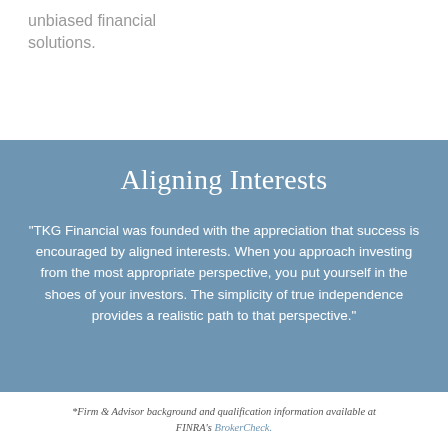unbiased financial solutions.
Aligning Interests
“TKG Financial was founded with the appreciation that success is encouraged by aligned interests. When you approach investing from the most appropriate perspective, you put yourself in the shoes of your investors. The simplicity of true independence provides a realistic path to that perspective.”
*Firm & Advisor background and qualification information available at FINRA’s BrokerCheck.